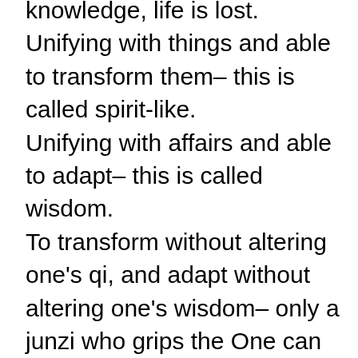knowledge, life is lost. Unifying with things and able to transform them– this is called spirit-like. Unifying with affairs and able to adapt– this is called wisdom. To transform without altering one's qi, and adapt without altering one's wisdom– only a junzi who grips the One can do this. Gripping the One without fail, he is able to be ruler to the world of things. The junzi manipulates things; he is not manipulated by things. He grasps the principle of the One, a regulated heart at his center, regulated